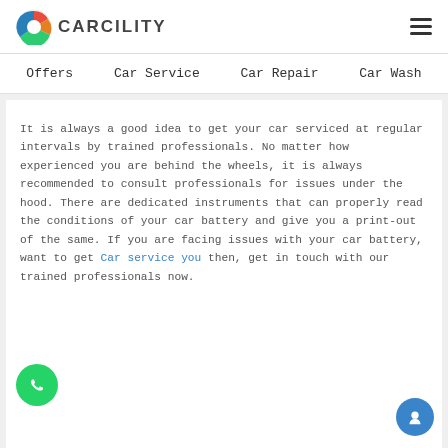CARCILITY
Offers   Car Service   Car Repair   Car Wash
It is always a good idea to get your car serviced at regular intervals by trained professionals. No matter how experienced you are behind the wheels, it is always recommended to consult professionals for issues under the hood. There are dedicated instruments that can properly read the conditions of your car battery and give you a print-out of the same. If you are facing issues with your car battery, want to get Car service you then, get in touch with our trained professionals now.